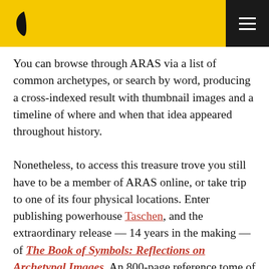[Figure (logo): Yellow header bar with a black leaf/bird logo on the left and a dark hamburger menu button on the right]
You can browse through ARAS via a list of common archetypes, or search by word, producing a cross-indexed result with thumbnail images and a timeline of where and when that idea appeared throughout history.
Nonetheless, to access this treasure trove you still have to be a member of ARAS online, or take trip to one of its four physical locations. Enter publishing powerhouse Taschen, and the extraordinary release — 14 years in the making — of The Book of Symbols: Reflections on Archetypal Images. An 800-page reference tome of ARAS's archival riches, The Book of Symbols is epic in every sense — its ambition is nothing less than to represent the